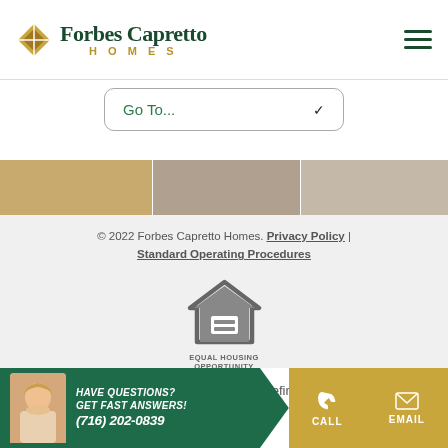[Figure (logo): Forbes Capretto Homes logo with gold diamond and green serif text]
Go To...
[Figure (photo): Photo strip showing three cropped interior/texture images]
© 2022 Forbes Capretto Homes. Privacy Policy | Standard Operating Procedures
[Figure (logo): Equal Housing Opportunity logo - house icon with equal sign]
Powered by Homefiniti
HAVE QUESTIONS? GET FAST ANSWERS! (716) 202-0839
CALL   EMAIL